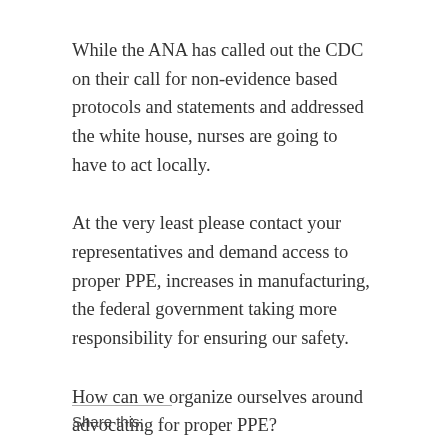While the ANA has called out the CDC on their call for non-evidence based protocols and statements and addressed the white house, nurses are going to have to act locally.
At the very least please contact your representatives and demand access to proper PPE, increases in manufacturing, the federal government taking more responsibility for ensuring our safety.
How can we organize ourselves around advocating for proper PPE?
Share this: